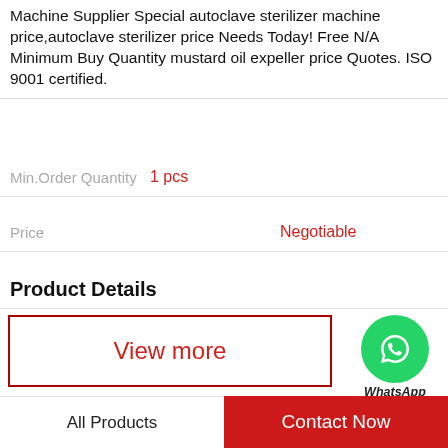Machine Supplier Special autoclave sterilizer machine price,autoclave sterilizer price Needs Today! Free N/A Minimum Buy Quantity mustard oil expeller price Quotes. ISO 9001 certified.
| Min.Order Quantity | 1 pcs |
| Price | Negotiable |
Product Details
[Figure (illustration): WhatsApp Online widget with green circle phone icon and italic bold label 'WhatsApp Online']
View more
Company Profile
Oil Expeller, Oil Press and Oil Refinery Machine ...
All Products    Contact Now